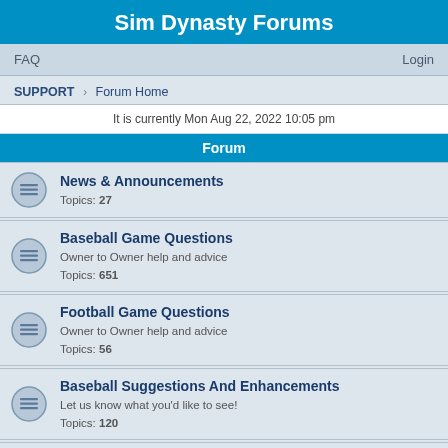Sim Dynasty Forums
FAQ  Login
SUPPORT › Forum Home
It is currently Mon Aug 22, 2022 10:05 pm
Forum
News & Announcements
Topics: 27
Baseball Game Questions
Owner to Owner help and advice
Topics: 651
Football Game Questions
Owner to Owner help and advice
Topics: 56
Baseball Suggestions And Enhancements
Let us know what you'd like to see!
Topics: 120
Football Suggestions And Enhancements
Let us know what you'd like to see!
Topics: 17
Check This Out!
21 inning game? 400 yards passing? Unusual system generated name?